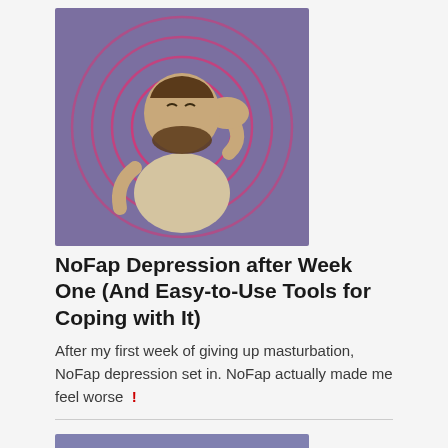[Figure (illustration): Cartoon illustration of a stressed bearded man holding his head, with red concentric circles around him, on a purple background]
NoFap Depression after Week One (And Easy-to-Use Tools for Coping with It)
After my first week of giving up masturbation, NoFap depression set in. NoFap actually made me feel worse !
[Figure (illustration): Cartoon illustration of a smiling blonde man in a white karate gi with a red belt giving a thumbs up, bursting through paper, on a purple background]
Is NoFap Worth It in 2022? (After I've Been on NoFap for 8 Years)